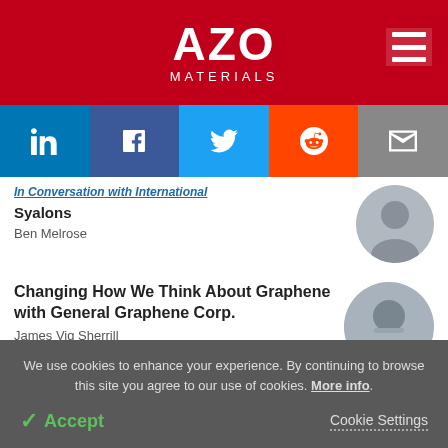[Figure (logo): AZO MATERIALS logo in white on red background with hamburger menu icon]
[Figure (infographic): Social sharing bar with LinkedIn, Facebook, Twitter, Reddit, and Email buttons]
Syalons
Ben Melrose
Changing How We Think About Graphene with General Graphene Corp.
James Vig Sherrill
We use cookies to enhance your experience. By continuing to browse this site you agree to our use of cookies. More info.